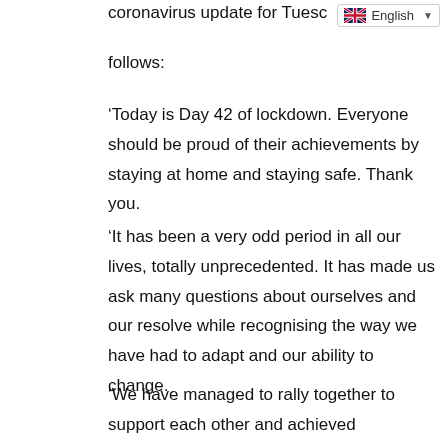coronavirus update for Tuesc follows:
‘Today is Day 42 of lockdown. Everyone should be proud of their achievements by staying at home and staying safe. Thank you.
‘It has been a very odd period in all our lives, totally unprecedented. It has made us ask many questions about ourselves and our resolve while recognising the way we have had to adapt and our ability to change.
‘We have managed to rally together to support each other and achieved something we should all be proud of.